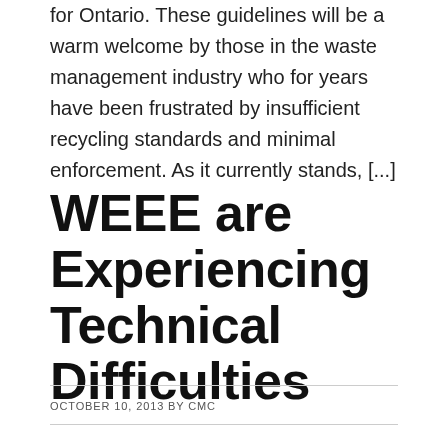for Ontario. These guidelines will be a warm welcome by those in the waste management industry who for years have been frustrated by insufficient recycling standards and minimal enforcement. As it currently stands, [...]
WEEE are Experiencing Technical Difficulties
OCTOBER 10, 2013 BY CMC